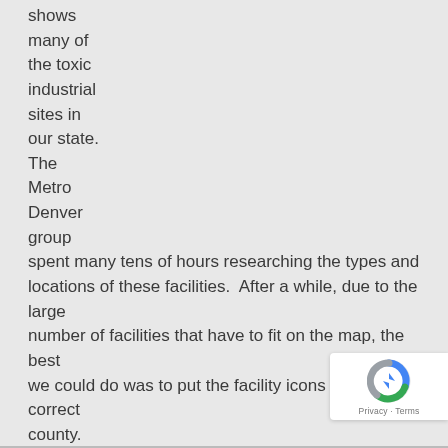shows many of the toxic industrial sites in our state. The Metro Denver group spent many tens of hours researching the types and locations of these facilities. After a while, due to the large number of facilities that have to fit on the map, the best we could do was to put the facility icons in the correct county.
... Read the rest
[Figure (other): reCAPTCHA badge with Google logo and Privacy · Terms text]